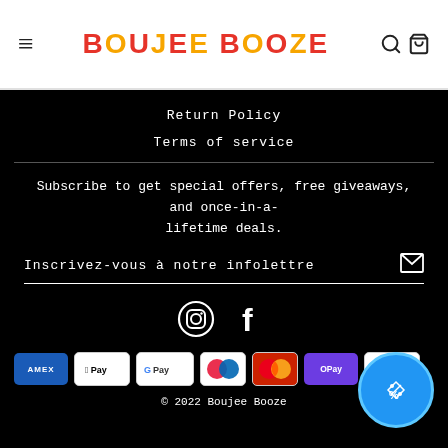BOUJEE BOOZE
Return Policy
Terms of service
Subscribe to get special offers, free giveaways, and once-in-a-lifetime deals.
Inscrivez-vous à notre infolettre
[Figure (logo): Instagram and Facebook social media icons in white on black background]
[Figure (infographic): Payment method badges: AMEX, Apple Pay, Google Pay, Diners Club, Mastercard, OPay, Visa]
© 2022 Boujee Booze